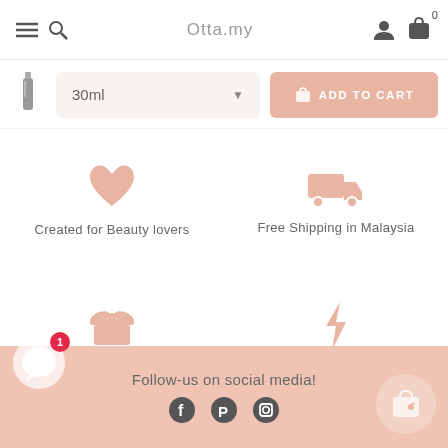Otta.my
30ml — ADD TO CART
Created for Beauty lovers
Free Shipping in Malaysia
Free Deluxe Samples
1-5 Days Fast Delivery
Follow-us on social media!